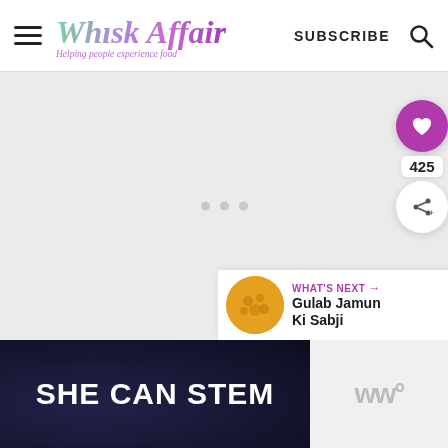Whisk Affair — Helping people experience food | SUBSCRIBE
[Figure (screenshot): Loading placeholder — light gray area with three small gray dots indicating image loading]
[Figure (infographic): Floating UI: purple heart button with count 425 and share button on right side]
WHAT'S NEXT → Gulab Jamun Ki Sabji
[Figure (screenshot): SHE CAN STEM banner advertisement on dark blue/navy background]
[Figure (logo): WW logo in gray on light background]